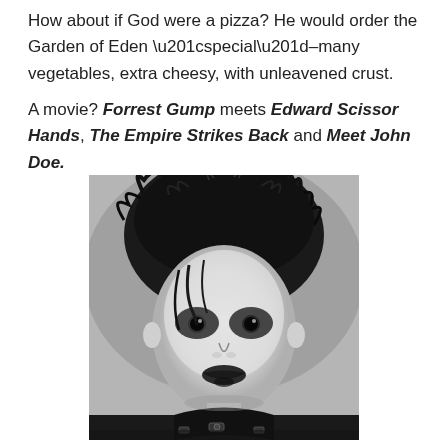How about if God were a pizza? He would order the Garden of Eden “special”–many vegetables, extra cheesy, with unleavened crust.
A movie? Forrest Gump meets Edward Scissor Hands, The Empire Strikes Back and Meet John Doe.
[Figure (photo): Black and white portrait photo of a person dressed as Edward Scissorhands, with wild dark hair, pale face with dark eye makeup and dark lips, wearing a dark costume with buckles.]